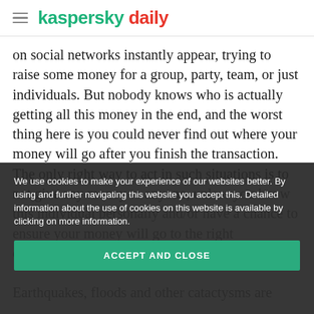kaspersky daily
on social networks instantly appear, trying to raise some money for a group, party, team, or just individuals. But nobody knows who is actually getting all this money in the end, and the worst thing here is you could never find out where your money will go after you finish the transaction. The only right way to act in such situations is to not give any money to anyone, unless you know this individual personally and/or have a chance to ensure your money will go to the right destination. Earthquakes, floods and other catactysms are of scammers. Unfortunately, the money raised
We use cookies to make your experience of our websites better. By using and further navigating this website you accept this. Detailed information about the use of cookies on this website is available by clicking on more information.
ACCEPT AND CLOSE